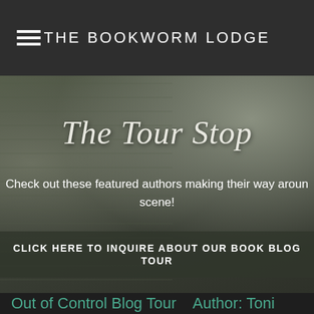THE BOOKWORM LODGE
The Tour Stop
Check out these featured authors making their way around the scene!
CLICK HERE TO INQUIRE ABOUT OUR BOOK BLOG TOUR
Out of Control Blog Tour   Author: Toni